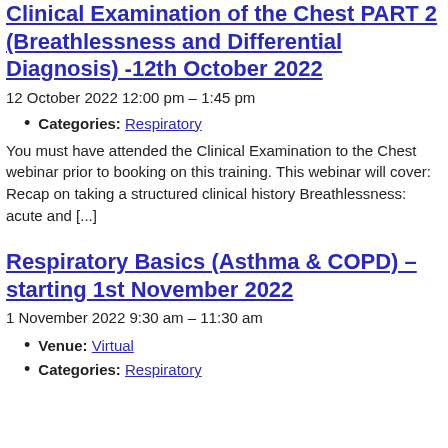Clinical Examination of the Chest PART 2 (Breathlessness and Differential Diagnosis) -12th October 2022
12 October 2022 12:00 pm – 1:45 pm
Categories: Respiratory
You must have attended the Clinical Examination to the Chest webinar prior to booking on this training.  This webinar will cover: Recap on taking a structured clinical history Breathlessness: acute and [...]
Respiratory Basics (Asthma & COPD) – starting 1st November 2022
1 November 2022 9:30 am – 11:30 am
Venue: Virtual
Categories: Respiratory